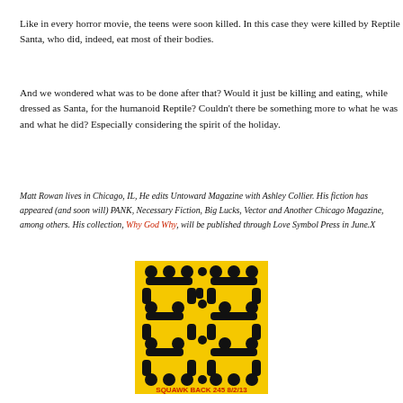Like in every horror movie, the teens were soon killed. In this case they were killed by Reptile Santa, who did, indeed, eat most of their bodies.
And we wondered what was to be done after that? Would it just be killing and eating, while dressed as Santa, for the humanoid Reptile? Couldn't there be something more to what he was and what he did? Especially considering the spirit of the holiday.
Matt Rowan lives in Chicago, IL, He edits Untoward Magazine with Ashley Collier. His fiction has appeared (and soon will) PANK, Necessary Fiction, Big Lucks, Vector and Another Chicago Magazine, among others. His collection, Why God Why, will be published through Love Symbol Press in June.X
[Figure (logo): Yellow and black graphic logo/image resembling stylized pixel or circuit board letters, with text 'SQUAWK BACK' and numbers '245 8/2/13' in red at the bottom]